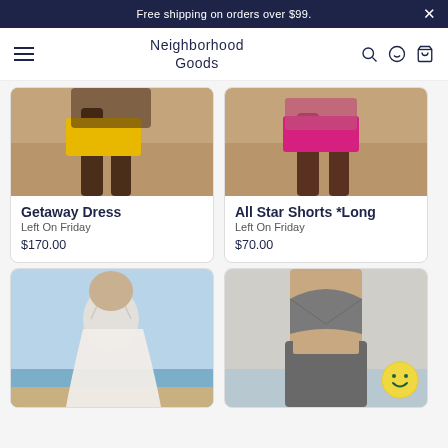Free shipping on orders over $99.
Neighborhood Goods
[Figure (photo): Product card showing Getaway Dress from Left On Friday, price $170.00, with photo of person on beach in yellow shorts]
[Figure (photo): Product card showing All Star Shorts *Long from Left On Friday, price $70.00, with photo of person on beach in pink shorts]
[Figure (photo): Product card showing a woman in a white flowing dress on a beach]
[Figure (photo): Product card showing a woman wearing a grey sports bra and grey leggings with smiley face chat button]